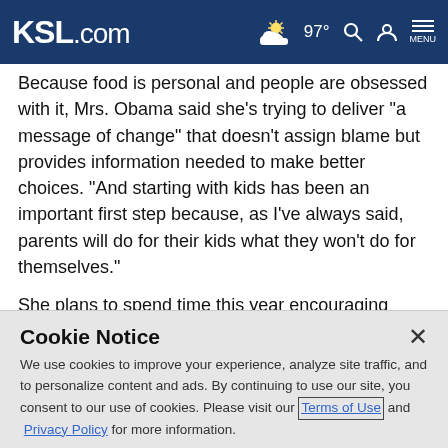KSL.com | 97° | Search | Menu
Because food is personal and people are obsessed with it, Mrs. Obama said she's trying to deliver "a message of change" that doesn't assign blame but provides information needed to make better choices. "And starting with kids has been an important first step because, as I've always said, parents will do for their kids what they won't do for themselves."
She plans to spend time this year encouraging people to
Cookie Notice
We use cookies to improve your experience, analyze site traffic, and to personalize content and ads. By continuing to use our site, you consent to our use of cookies. Please visit our Terms of Use and Privacy Policy for more information.
Continue